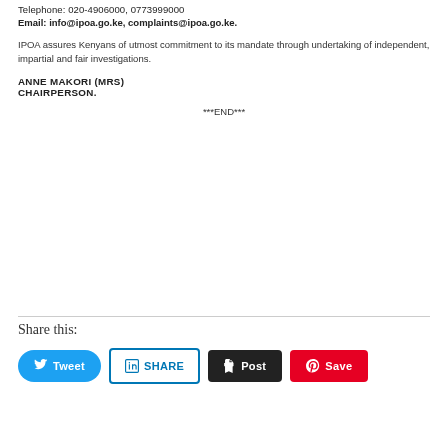Telephone: 020-4906000, 0773999000
Email: info@ipoa.go.ke, complaints@ipoa.go.ke.
IPOA assures Kenyans of utmost commitment to its mandate through undertaking of independent, impartial and fair investigations.
ANNE MAKORI (MRS)
CHAIRPERSON.
***END***
Share this: